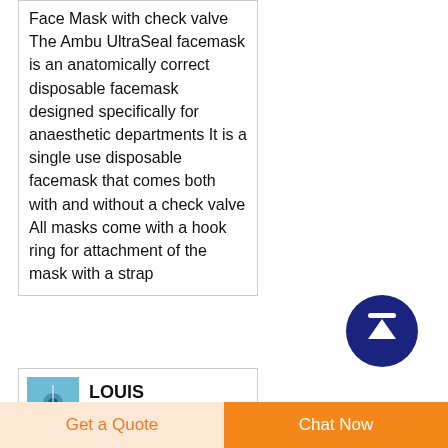Face Mask with check valve The Ambu UltraSeal facemask is an anatomically correct disposable facemask designed specifically for anaesthetic departments It is a single use disposable facemask that comes both with and without a check valve All masks come with a hook ring for attachment of the mask with a strap
[Figure (illustration): Dark blue circular button with white upward arrow, scroll-to-top icon]
LOUIS VUITTON
Select Your
Get a Quote
Chat Now